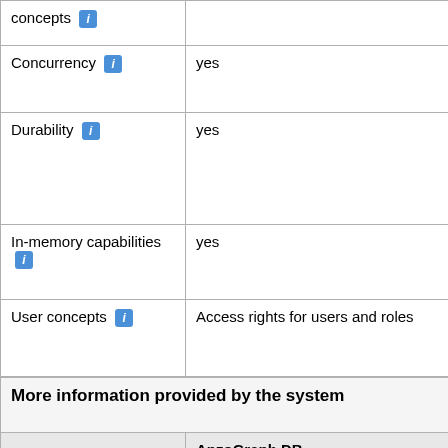|  | AnzoGraph DB |
| --- | --- |
| concepts [i] |  |
| Concurrency [i] | yes |
| Durability [i] | yes |
| In-memory capabilities [i] | yes |
| User concepts [i] | Access rights for users and roles |
| More information provided by the system |  |
|  | AnzoGraph DB |
| Specific characteristics |  |